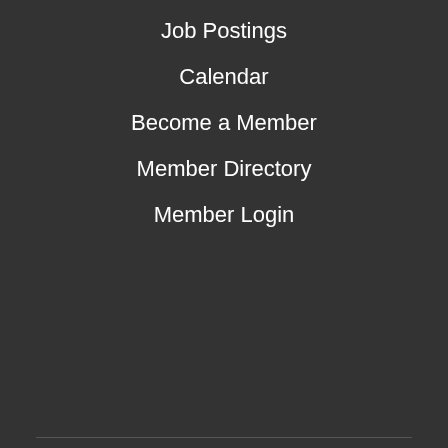Job Postings
Calendar
Become a Member
Member Directory
Member Login